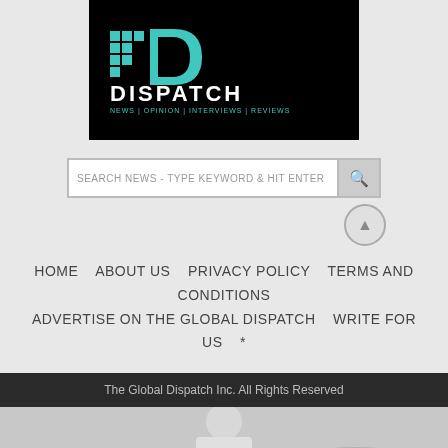[Figure (logo): Dispatch logo on black background with pixelated D graphic in teal/cyan and white DISPATCH text with tagline NEWS | OPINION | INTERVIEWS | REVIEWS in teal]
SEARCH NEWS - TYPE KEYWORD & HIT ENTER
HOME   ABOUT US   PRIVACY POLICY   TERMS AND CONDITIONS   ADVERTISE ON THE GLOBAL DISPATCH   WRITE FOR US   *
The Global Dispatch Inc. All Rights Reserved
[Figure (photo): Photo of person preparing food/salad at a table, partial view]